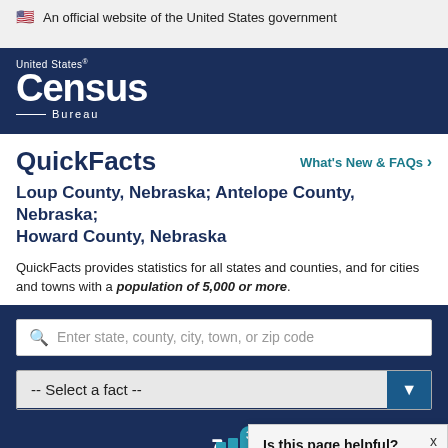🇺🇸 An official website of the United States government
[Figure (logo): United States Census Bureau logo in white on dark navy background]
QuickFacts
What's New & FAQs >
Loup County, Nebraska; Antelope County, Nebraska; Howard County, Nebraska
QuickFacts provides statistics for all states and counties, and for cities and towns with a population of 5,000 or more.
Enter state, county, city, town, or zip code
-- Select a fact --
CLEAR
Is this page helpful? Yes No